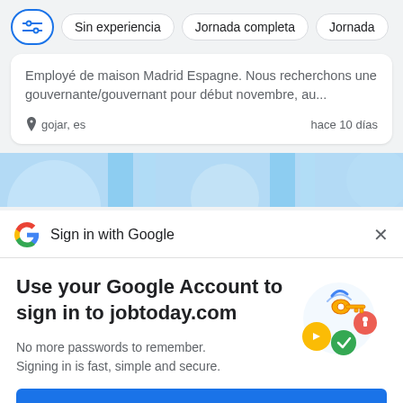[Figure (screenshot): Filter bar with icon button, 'Sin experiencia', 'Jornada completa', 'Jornada' chips]
Employé de maison Madrid Espagne. Nous recherchons une gouvernante/gouvernant pour début novembre, au...
gojar, es    hace 10 días
[Figure (illustration): Blue decorative banner with light blue circular and rectangular shapes]
Sign in with Google
Use your Google Account to sign in to jobtoday.com
No more passwords to remember. Signing in is fast, simple and secure.
[Figure (illustration): Google sign-in illustration with a golden key, colorful circles with icons]
Continue